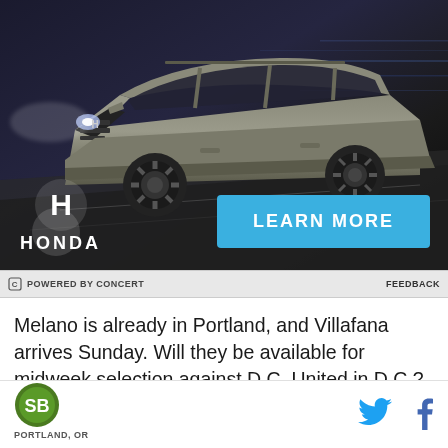[Figure (photo): Honda advertisement showing a gray Honda crossover SUV driving on a dark road at night with motion blur background. The Honda H logo and HONDA wordmark appear at bottom left. A cyan/blue 'LEARN MORE' button appears at bottom right. Bottom bar reads 'POWERED BY CONCERT' with 'FEEDBACK' on the right.]
Melano is already in Portland, and Villafana arrives Sunday. Will they be available for midweek selection against D.C. United in D.C.? It's possible, but I bet we won't see them until next weekend against Sporting K.C. That gives them time to adjust and learn the
PORTLAND, OR